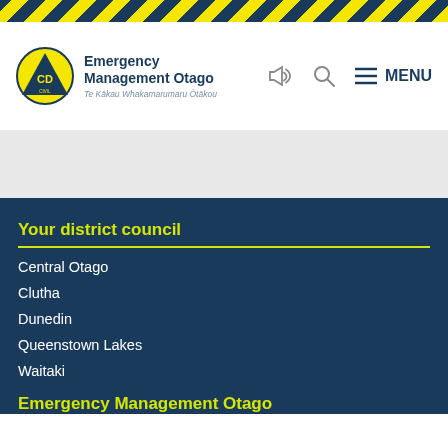[Figure (logo): Emergency Management Otago logo with Civil Defence triangle badge, text 'Emergency Management Otago' and 'Te Kākau Whakamarumaru Ōtākou']
Your district council
Central Otago
Clutha
Dunedin
Queenstown Lakes
Waitaki
Emergency Management Otago